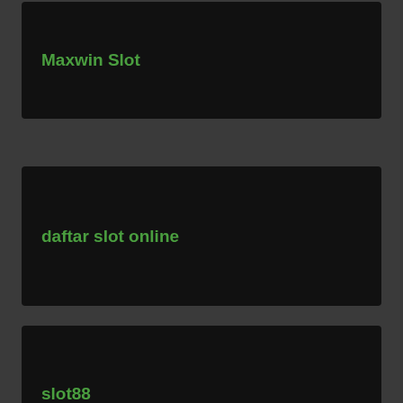Maxwin Slot
daftar slot online
slot88
slot